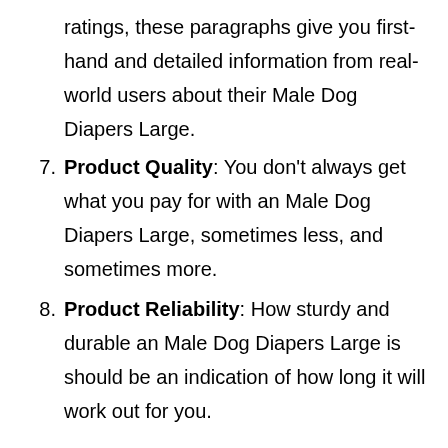ratings, these paragraphs give you first-hand and detailed information from real-world users about their Male Dog Diapers Large.
7. Product Quality: You don’t always get what you pay for with an Male Dog Diapers Large, sometimes less, and sometimes more.
8. Product Reliability: How sturdy and durable an Male Dog Diapers Large is should be an indication of how long it will work out for you.